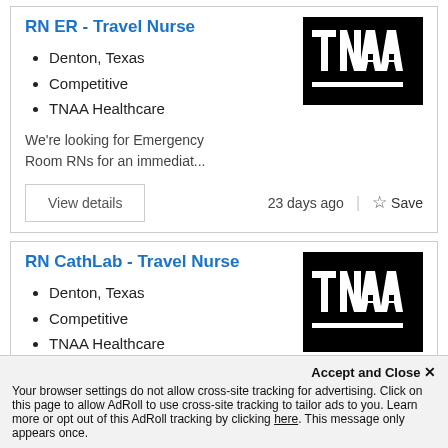RN ER - Travel Nurse
Denton, Texas
Competitive
TNAA Healthcare
[Figure (logo): TNAA Healthcare logo - white text TNAA on black background]
We're looking for Emergency Room RNs for an immediat...
View details
23 days ago
☆ Save
RN CathLab - Travel Nurse
Denton, Texas
Competitive
TNAA Healthcare
[Figure (logo): TNAA Healthcare logo - white text TNAA on black background]
We're looking for Cardiac...
Accept and Close ✕
Your browser settings do not allow cross-site tracking for advertising. Click on this page to allow AdRoll to use cross-site tracking to tailor ads to you. Learn more or opt out of this AdRoll tracking by clicking here. This message only appears once.